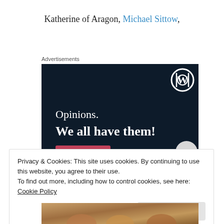Katherine of Aragon, Michael Sittow,
Advertisements
[Figure (illustration): Dark navy blue advertisement banner with WordPress logo in top right corner. Text reads 'Opinions. We all have them!' with a pink/red button at the bottom left and a grey circle at the bottom right.]
Privacy & Cookies: This site uses cookies. By continuing to use this website, you agree to their use.
To find out more, including how to control cookies, see here: Cookie Policy
Close and accept
[Figure (photo): Partial view of a Renaissance-style painting at the bottom of the page showing figures.]